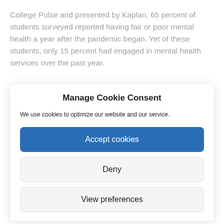College Pulse and presented by Kaplan, 65 percent of students surveyed reported having fair or poor mental health a year after the pandemic began. Yet of these students, only 15 percent had engaged in mental health services over the past year.
Many factors contribute to the rate of students using
Manage Cookie Consent
We use cookies to optimize our website and our service.
Accept cookies
Deny
View preferences